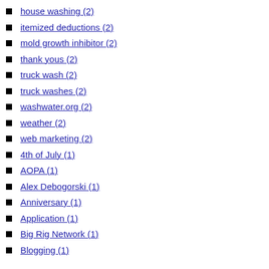house washing (2)
itemized deductions (2)
mold growth inhibitor (2)
thank yous (2)
truck wash (2)
truck washes (2)
washwater.org (2)
weather (2)
web marketing (2)
4th of July (1)
AOPA (1)
Alex Debogorski (1)
Anniversary (1)
Application (1)
Big Rig Network (1)
Blogging (1)